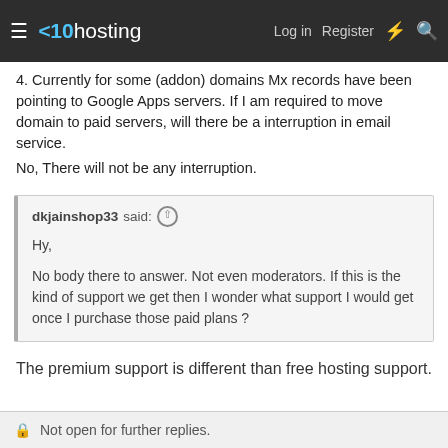x10hosting — Log in  Register
4. Currently for some (addon) domains Mx records have been pointing to Google Apps servers. If I am required to move domain to paid servers, will there be a interruption in email service.
No, There will not be any interruption.
dkjainshop33 said: ↑

Hy,

No body there to answer. Not even moderators. If this is the kind of support we get then I wonder what support I would get once I purchase those paid plans ?
The premium support is different than free hosting support.
🔒 Not open for further replies.